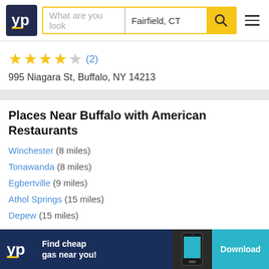YP — What are you looking for? Fairfield, CT
★★★★☆ (2)
995 Niagara St, Buffalo, NY 14213
Places Near Buffalo with American Restaurants
Winchester (8 miles)
Tonawanda (8 miles)
Egbertville (9 miles)
Athol Springs (15 miles)
Depew (15 miles)
View similar American Restaurants
[Figure (screenshot): YP app advertisement banner: Find cheap gas near you! Download button.]